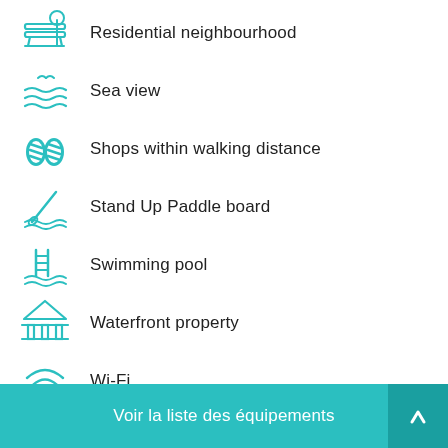Residential neighbourhood
Sea view
Shops within walking distance
Stand Up Paddle board
Swimming pool
Waterfront property
Wi-Fi
Voir la liste des équipements